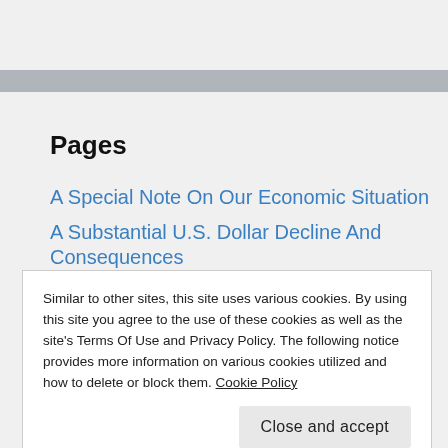Pages
A Special Note On Our Economic Situation
A Substantial U.S. Dollar Decline And Consequences
About
Similar to other sites, this site uses various cookies. By using this site you agree to the use of these cookies as well as the site's Terms Of Use and Privacy Policy. The following notice provides more information on various cookies utilized and how to delete or block them. Cookie Policy
The Stimulus / Intervention Efforts